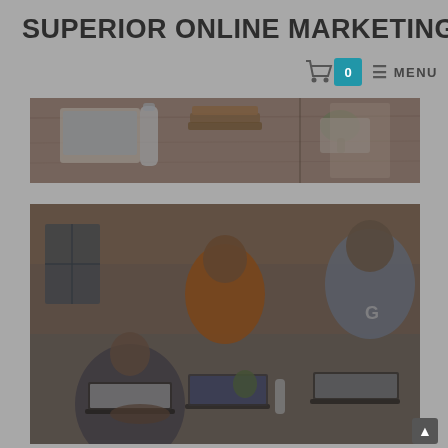SUPERIOR ONLINE MARKETING
Cart 0  ≡ MENU
[Figure (photo): Photo of a wooden desk workspace with laptops, notebooks, water bottles and office supplies viewed from above]
[Figure (photo): Photo of three people working on laptops in a casual office/coworking space setting, one in an orange hoodie in the center]